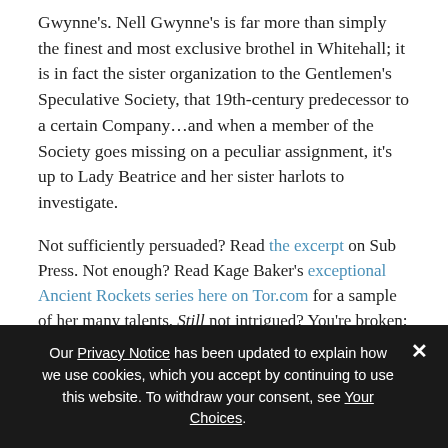Gwynne's. Nell Gwynne's is far more than simply the finest and most exclusive brothel in Whitehall; it is in fact the sister organization to the Gentlemen's Speculative Society, that 19th-century predecessor to a certain Company…and when a member of the Society goes missing on a peculiar assignment, it's up to Lady Beatrice and her sister harlots to investigate.
Not sufficiently persuaded? Read the excerpt on Sub Press. Not enough? Read Kage Baker's exceptional Ancient Rockets series here on Tor.com for a sample of her many talents. Still not intrigued? You're broken; there really is no other explanation.
Our Privacy Notice has been updated to explain how we use cookies, which you accept by continuing to use this website. To withdraw your consent, see Your Choices.